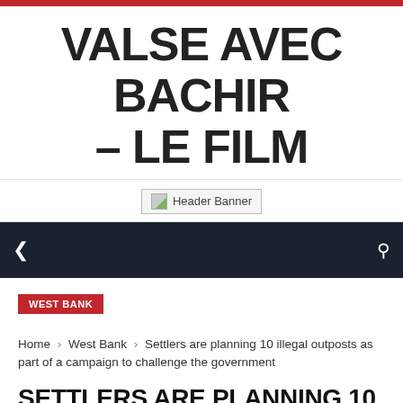VALSE AVEC BACHIR – LE FILM
[Figure (other): Header Banner placeholder image]
navigation bar with menu icon and search icon
WEST BANK
Home › West Bank › Settlers are planning 10 illegal outposts as part of a campaign to challenge the government
SETTLERS ARE PLANNING 10 ILLEGAL OUTPOSTS AS PART OF A CAMPAIGN